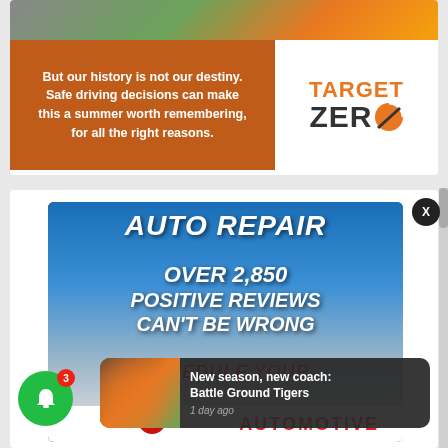[Figure (infographic): Target Zero traffic safety ad with orange background. Text reads: 'But our history is not our destiny. Safe driving decisions can make this a summer worth remembering, for all the right reasons.' Target Zero logo on white panel to the right.]
[Figure (infographic): Auto Repair advertisement on blue background with red swoosh. Text: 'AUTO REPAIR', 'OVER 2,850 POSITIVE REVIEWS CAN'T BE WRONG', 'SCHEDULE YOUR', 'AUTOMOTIVE']
New season, new coach: Battle Ground Tigers
1 day ago